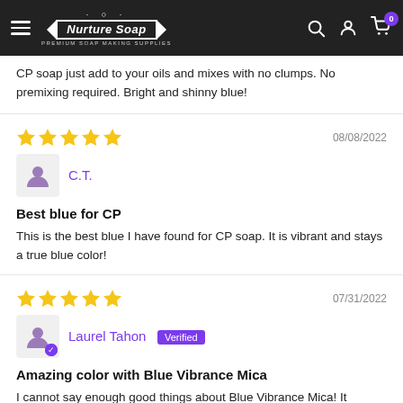[Figure (screenshot): Nurture Soap website navigation bar with hamburger menu, logo, search, account, and cart icons]
CP soap just add to your oils and mixes with no clumps. No premixing required. Bright and shinny blue!
08/08/2022
C.T.
Best blue for CP
This is the best blue I have found for CP soap. It is vibrant and stays a true blue color!
07/31/2022
Laurel Tahon Verified
Amazing color with Blue Vibrance Mica
I cannot say enough good things about Blue Vibrance Mica! It